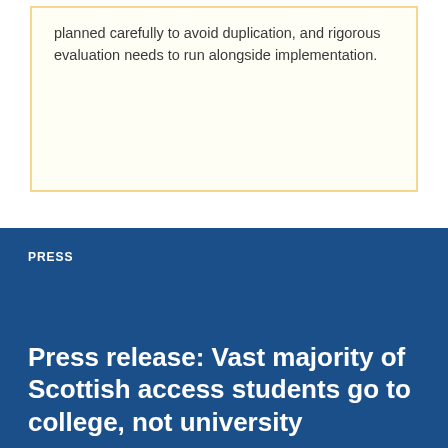planned carefully to avoid duplication, and rigorous evaluation needs to run alongside implementation.
PRESS
Press release: Vast majority of Scottish access students go to college, not university